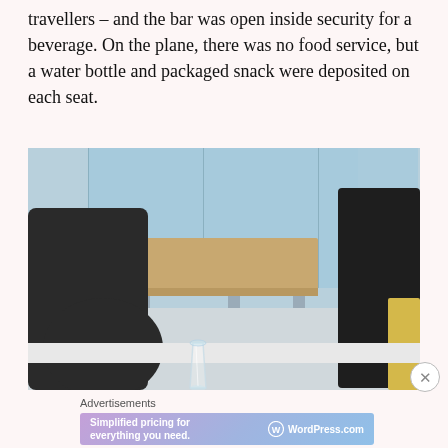travellers – and the bar was open inside security for a beverage. On the plane, there was no food service, but a water bottle and packaged snack were deposited on each seat.
[Figure (photo): Photo taken at an airport bar or lounge: two people in dark shirts sit at a white counter, with a clear empty pint glass in the center foreground and an airport terminal visible through large windows in the background.]
Advertisements
[Figure (screenshot): Advertisement banner for WordPress.com with gradient purple-blue background. Text reads: Simplified pricing for everything you need. WordPress.com logo on the right.]